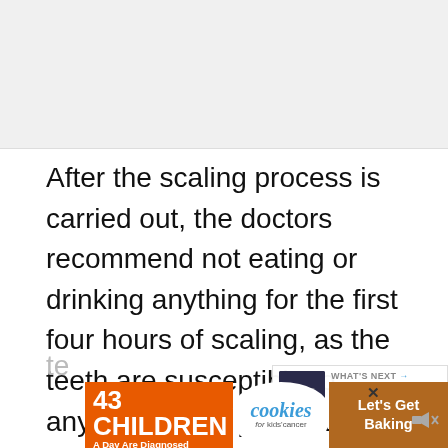[Figure (photo): Gray placeholder image area at top of page]
After the scaling process is carried out, the doctors recommend not eating or drinking anything for the first four hours of scaling, as the teeth are susceptible to anything. If the precautions are not taken, that can result in bleeding or swollen gums. After four hours, the person can drink room te...
[Figure (infographic): Advertisement banner: 43 CHILDREN A Day Are Diagnosed With Cancer In The U.S. cookies for kids cancer Let's Get Baking]